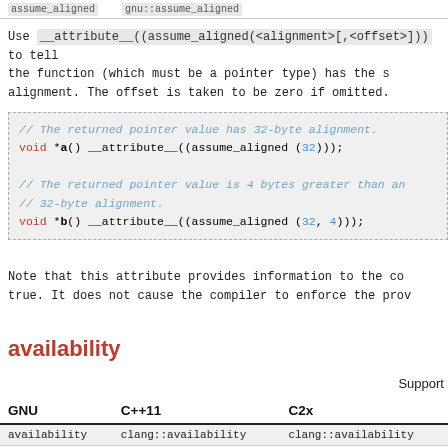assume_aligned   gnu::assume_aligned
Use __attribute__((assume_aligned(<alignment>[,<offset>])) to tell the compiler that the return value of the function (which must be a pointer type) has the specified alignment. The offset is taken to be zero if omitted.
// The returned pointer value has 32-byte alignment.
void *a() __attribute__((assume_aligned (32)));

// The returned pointer value is 4 bytes greater than an
// 32-byte alignment.
void *b() __attribute__((assume_aligned (32, 4)));
Note that this attribute provides information to the compiler assumed to be true. It does not cause the compiler to enforce the provided information.
availability
Support
| GNU | C++11 | C2x |
| --- | --- | --- |
| availability | clang::availability | clang::availability |